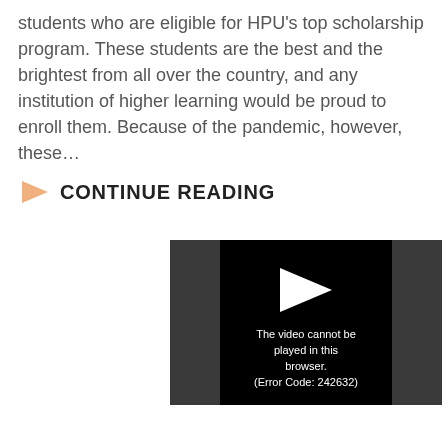students who are eligible for HPU's top scholarship program. These students are the best and the brightest from all over the country, and any institution of higher learning would be proud to enroll them. Because of the pandemic, however, these…
CONTINUE READING
[Figure (screenshot): A video player showing an error message: 'The video cannot be played in this browser. (Error Code: 242632)' on a black background with a play arrow icon at the top.]